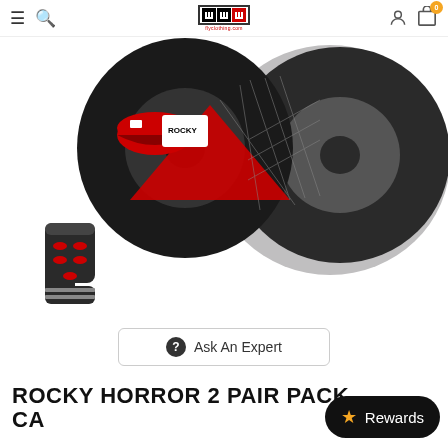[Figure (screenshot): E-commerce website header with hamburger menu, search icon, FlyClothing.com logo, user icon, and cart with 0 badge]
[Figure (photo): Main product image: Rocky Horror themed socks with red lips, fishnet stockings on black and grey circular vinyl record style background]
[Figure (photo): Thumbnail image of Rocky Horror 2-pair pack socks — dark grey with red lip prints]
Ask An Expert
ROCKY HORROR 2 PAIR PACK CA...
Rewards